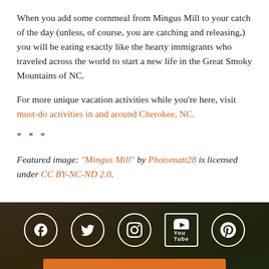When you add some cornmeal from Mingus Mill to your catch of the day (unless, of course, you are catching and releasing,) you will be eating exactly like the hearty immigrants who traveled across the world to start a new life in the Great Smoky Mountains of NC.
For more unique vacation activities while you're here, visit must-do activities in and around Cherokee, NC.
* * *
Featured image: "Mingus Mill" by Photomatt28 is licensed under CC BY-NC-ND 2.0.
[Figure (infographic): Dark forest background footer section with social media icons (Facebook, Twitter, Instagram, YouTube, Pinterest), an orange Membership Info button, and address text: 4437 Georgia Rd Franklin, NC 28734 / 828.369.9606]